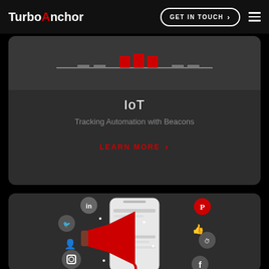TurboAnchor — GET IN TOUCH
[Figure (illustration): Partial view of IoT beacons/devices illustration with red beacon blocks and a horizontal line on dark background]
IoT
Tracking Automation with Beacons
LEARN MORE >
[Figure (illustration): Social media marketing illustration showing a smartphone with a megaphone and social media icons (LinkedIn, Twitter, Pinterest, Instagram, Facebook, WhatsApp) on dark background]